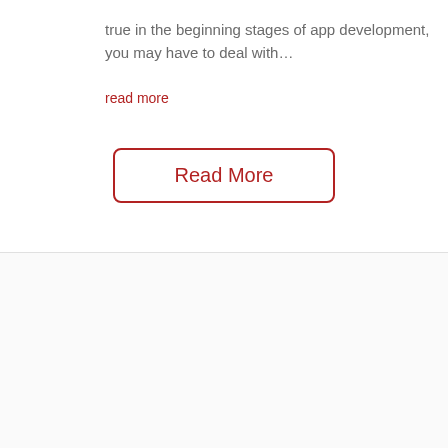true in the beginning stages of app development, you may have to deal with...
read more
Read More
[Figure (logo): Faded watermark logo letters 'CbA' in light gray]
[Figure (logo): Faded circular watermark icon in light gray]